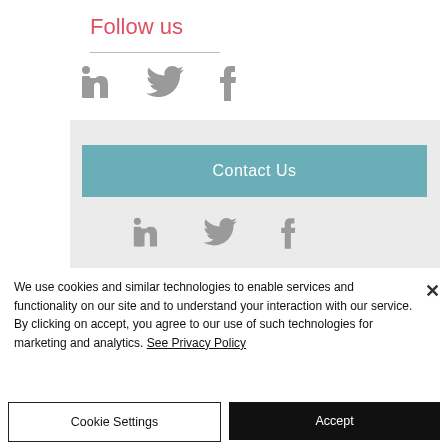Follow us
[Figure (infographic): LinkedIn, Twitter, and Facebook social media icons in grey]
[Figure (infographic): Contact Us button in teal/blue-green color with grey background panel containing LinkedIn, Twitter, Facebook icons below]
We use cookies and similar technologies to enable services and functionality on our site and to understand your interaction with our service. By clicking on accept, you agree to our use of such technologies for marketing and analytics. See Privacy Policy
Cookie Settings
Accept